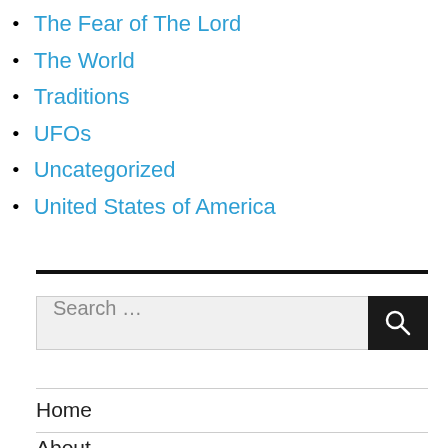The Fear of The Lord
The World
Traditions
UFOs
Uncategorized
United States of America
Search …
Home
About